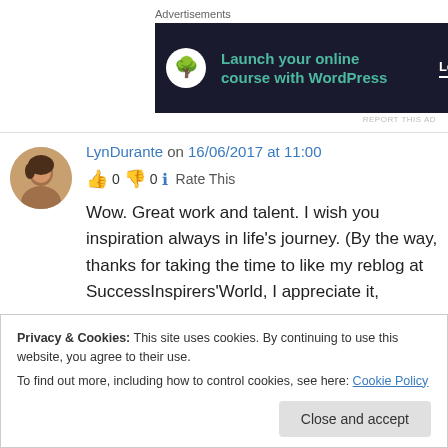Advertisements
[Figure (illustration): Dark ad banner for 'Launch your online course with WordPress' with a tree/leaf icon and 'Learn More' CTA button]
REPORT THIS AD
LynDurante on 16/06/2017 at 11:00
👍 0 👎 0 ℹ Rate This
Wow. Great work and talent. I wish you inspiration always in life's journey. (By the way, thanks for taking the time to like my reblog at SuccessInspirers'World, I appreciate it,
Privacy & Cookies: This site uses cookies. By continuing to use this website, you agree to their use.
To find out more, including how to control cookies, see here: Cookie Policy